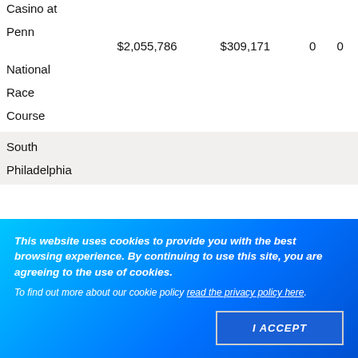| Casino at Penn National Race Course | $2,055,786 | $309,171 | 0 | 0 |
| South Philadelphia |  |  |  |  |
This website uses cookies to provide you with the best browsing experience. By continuing to use this site, you are agreeing to the use of cookies. To find out more about our cookie policy read the privacy policy here.
I ACCEPT